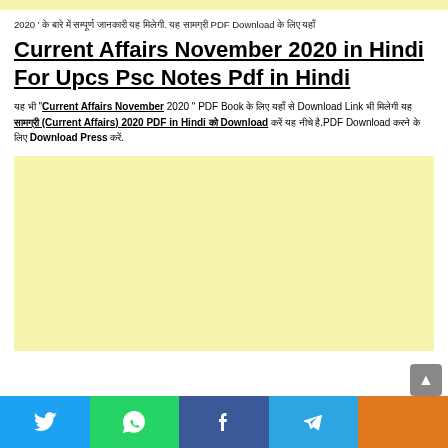2020 ' के बारे में सम्पूर्ण जानकारी यह मिलेगी. यह सामग्री PDF Download के लिए यहाँ
Current Affairs November 2020 in Hindi For Upcs Psc Notes Pdf in Hindi
यह भी "Current Affairs November 2020 " PDF Book के लिए यहाँ से Download Link भी मिलेगी यह सामग्री (Current Affairs) 2020 PDF in Hindi को Download करें यह नीचे है.PDF Download करने के लिए Download Press करें.
[Figure (other): Advertisement block with light yellow background]